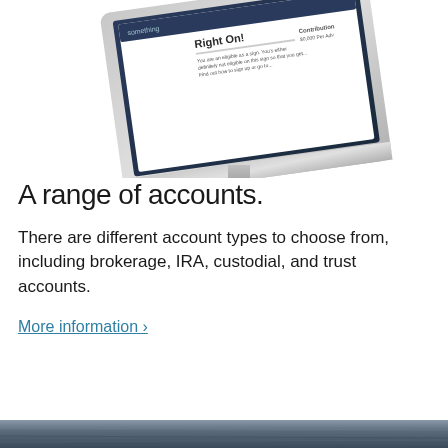[Figure (illustration): An iMac-style desktop computer monitor displayed at an angle, showing a webpage with account information on the screen. The monitor has a silver/aluminum stand and bezel with a dark screen border.]
A range of accounts.
There are different account types to choose from, including brokerage, IRA, custodial, and trust accounts.
More information >